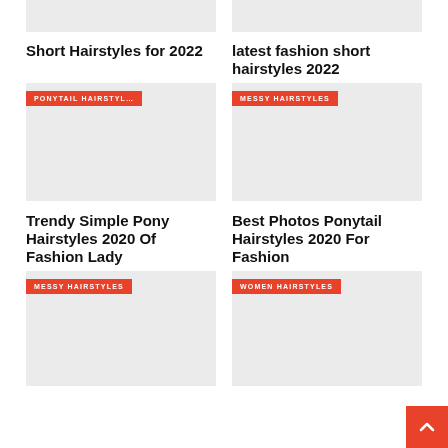[Figure (photo): Top image placeholder left - hairstyle photo]
[Figure (photo): Top image placeholder right - hairstyle photo]
Short Hairstyles for 2022
latest fashion short hairstyles 2022
[Figure (photo): Card image with PONYTAIL HAIRSTYL... tag]
[Figure (photo): Card image with MESSY HAIRSTYLES tag]
Trendy Simple Pony Hairstyles 2020 Of Fashion Lady
Best Photos Ponytail Hairstyles 2020 For Fashion
[Figure (photo): Card image with MESSY HAIRSTYLES tag]
[Figure (photo): Card image with WOMEN HAIRSTYLES tag]